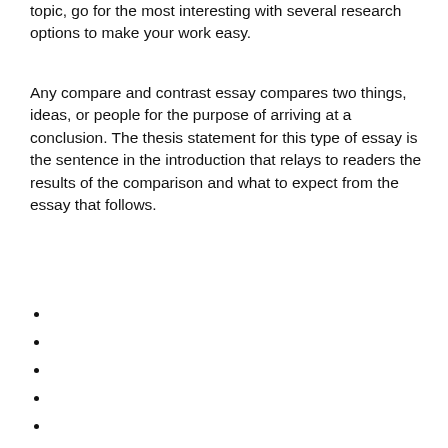topic, go for the most interesting with several research options to make your work easy.
Any compare and contrast essay compares two things, ideas, or people for the purpose of arriving at a conclusion. The thesis statement for this type of essay is the sentence in the introduction that relays to readers the results of the comparison and what to expect from the essay that follows.